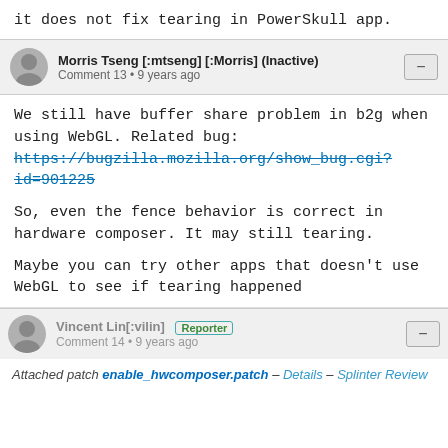it does not fix tearing in PowerSkull app.
Morris Tseng [:mtseng] [:Morris] (Inactive) — Comment 13 • 9 years ago
We still have buffer share problem in b2g when using WebGL. Related bug: https://bugzilla.mozilla.org/show_bug.cgi?id=901225

So, even the fence behavior is correct in hardware composer. It may still tearing.

Maybe you can try other apps that doesn't use WebGL to see if tearing happened
Vincent Lin[:vilin] Reporter — Comment 14 • 9 years ago
Attached patch enable_hwcomposer.patch — Details — Splinter Review